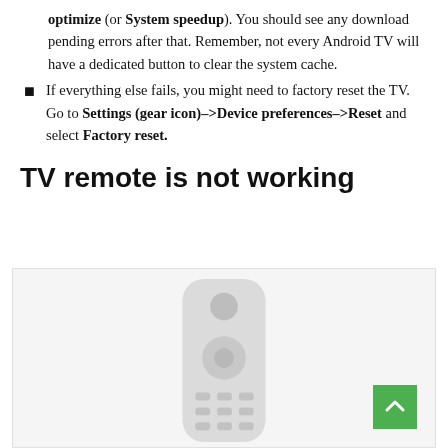optimize (or System speedup). You should see any download pending errors after that. Remember, not every Android TV will have a dedicated button to clear the system cache.
If everything else fails, you might need to factory reset the TV. Go to Settings (gear icon)->Device preferences->Reset and select Factory reset.
TV remote is not working
[Figure (photo): Photo of a TV remote control, shown against a light background. A green scroll-to-top button is visible in the bottom-right corner.]